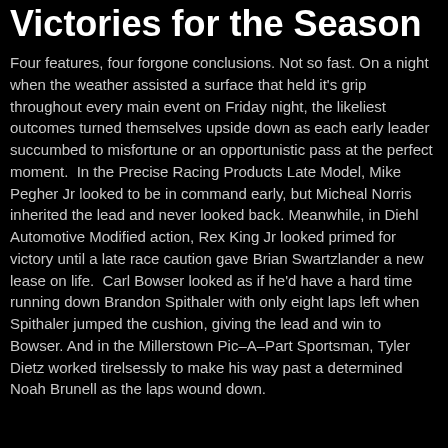Victories for the Season
Four features, four forgone conclusions. Not so fast. On a night when the weather assisted a surface that held it's grip throughout every main event on Friday night, the likeliest outcomes turned themselves upside down as each early leader succumbed to misfortune or an opportunistic pass at the perfect moment. In the Precise Racing Products Late Model, Mike Pegher Jr looked to be in command early, but Micheal Norris inherited the lead and never looked back. Meanwhile, in Diehl Automotive Modified action, Rex King Jr looked primed for victory until a late race caution gave Brian Swartzlander a new lease on life. Carl Bowser looked as if he'd have a hard time running down Brandon Spithaler with only eight laps left when Spithaler jumped the cushion, giving the lead and win to Bowser. And in the Millerstown Pic–A–Part Sportsman, Tyler Dietz worked tirelsessly to make his way past a determined Noah Brunell as the laps wound down.